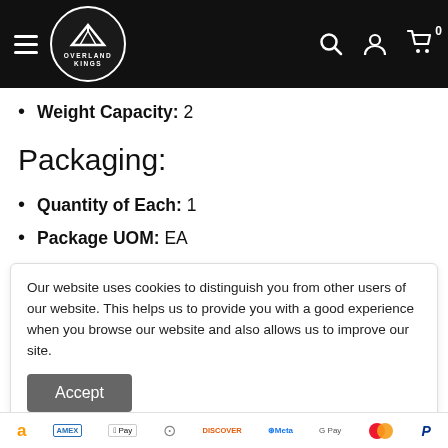Overland Kings navigation bar with logo, search, account, and cart icons
Weight Capacity: 2
Packaging:
Quantity of Each: 1
Package UOM: EA
Our website uses cookies to distinguish you from other users of our website. This helps us to provide you with a good experience when you browse our website and also allows us to improve our site.
Payment icons: Amazon, AMEX, Apple Pay, Diners, Discover, Meta, Google Pay, Mastercard, PayPal